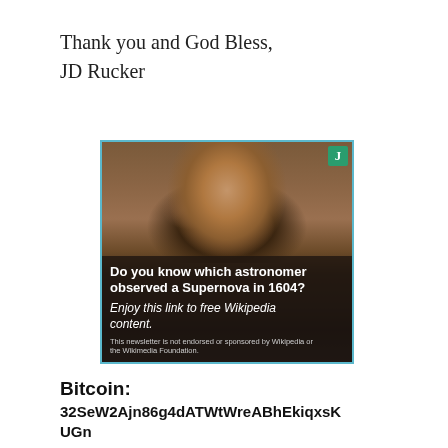Thank you and God Bless,
JD Rucker
[Figure (photo): Advertisement image showing a portrait painting of a historical figure (astronomer) with overlay text reading 'Do you know which astronomer observed a Supernova in 1604? Enjoy this link to free Wikipedia content.' with a disclaimer: 'This newsletter is not endorsed or sponsored by Wikipedia or the Wikimedia Foundation.']
Bitcoin:
32SeW2Ajn86g4dATWtWreABhEkiqxsKUGn